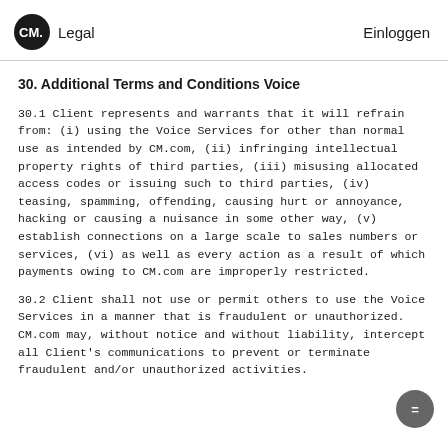CM. Legal  Einloggen
30. Additional Terms and Conditions Voice
30.1 Client represents and warrants that it will refrain from: (i) using the Voice Services for other than normal use as intended by CM.com, (ii) infringing intellectual property rights of third parties, (iii) misusing allocated access codes or issuing such to third parties, (iv) teasing, spamming, offending, causing hurt or annoyance, hacking or causing a nuisance in some other way, (v) establish connections on a large scale to sales numbers or services, (vi) as well as every action as a result of which payments owing to CM.com are improperly restricted.
30.2 Client shall not use or permit others to use the Voice Services in a manner that is fraudulent or unauthorized. CM.com may, without notice and without liability, intercept all Client's communications to prevent or terminate fraudulent and/or unauthorized activities.